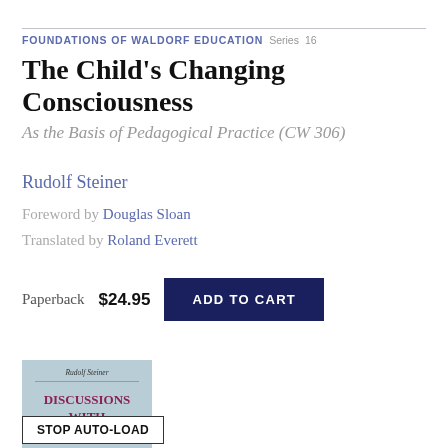FOUNDATIONS OF WALDORF EDUCATION  Series  16
The Child's Changing Consciousness
As the Basis of Pedagogical Practice (CW 306)
Rudolf Steiner
Foreword by Douglas Sloan
Translated by Roland Everett
Paperback  $24.95  ADD TO CART
[Figure (illustration): Book cover thumbnail for 'Discussions with Teachers' by Rudolf Steiner, light blue cover with red title text in small caps]
STOP AUTO-LOAD